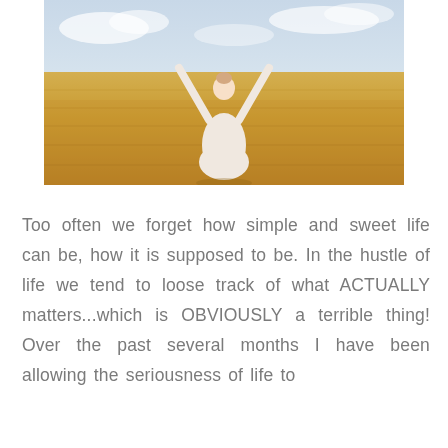[Figure (photo): A woman in a white dress standing in a golden wheat field with arms raised, viewed from behind, under a partly cloudy sky.]
Too often we forget how simple and sweet life can be, how it is supposed to be. In the hustle of life we tend to loose track of what ACTUALLY matters...which is OBVIOUSLY a terrible thing! Over the past several months I have been allowing the seriousness of life to